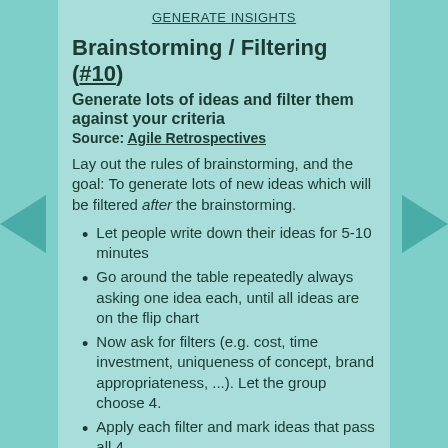GENERATE INSIGHTS
Brainstorming / Filtering (#10)
Generate lots of ideas and filter them against your criteria
Source: Agile Retrospectives
Lay out the rules of brainstorming, and the goal: To generate lots of new ideas which will be filtered after the brainstorming.
Let people write down their ideas for 5-10 minutes
Go around the table repeatedly always asking one idea each, until all ideas are on the flip chart
Now ask for filters (e.g. cost, time investment, uniqueness of concept, brand appropriateness, ...). Let the group choose 4.
Apply each filter and mark ideas that pass all 4.
Which ideas will the group carry forward? Does someone feel strongly about one of the ideas? Otherwise use majority vote